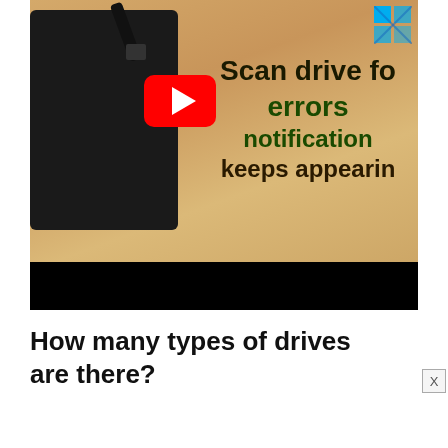[Figure (screenshot): YouTube video thumbnail showing a black external hard drive on a wood surface with text overlay: 'Scan drive for errors notification keeps appearing' with a YouTube play button and Windows logo in top-right corner]
How many types of drives are there?